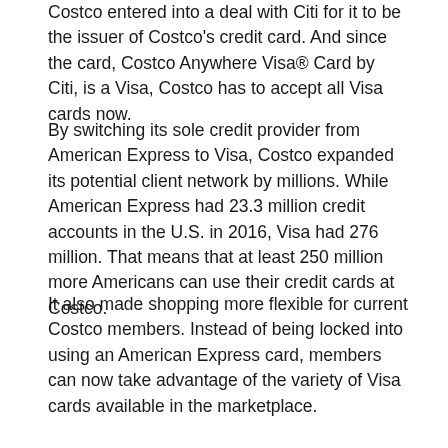Costco entered into a deal with Citi for it to be the issuer of Costco's credit card. And since the card, Costco Anywhere Visa® Card by Citi, is a Visa, Costco has to accept all Visa cards now.
By switching its sole credit provider from American Express to Visa, Costco expanded its potential client network by millions. While American Express had 23.3 million credit accounts in the U.S. in 2016, Visa had 276 million. That means that at least 250 million more Americans can use their credit cards at Costco.
It also made shopping more flexible for current Costco members. Instead of being locked into using an American Express card, members can now take advantage of the variety of Visa cards available in the marketplace.